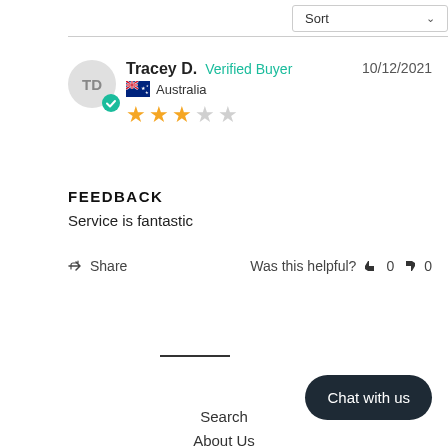Sort
Tracey D.  Verified Buyer  10/12/2021  Australia  ★★★☆☆
FEEDBACK
Service is fantastic
Share  Was this helpful?  👍 0  👎 0
Search
About Us